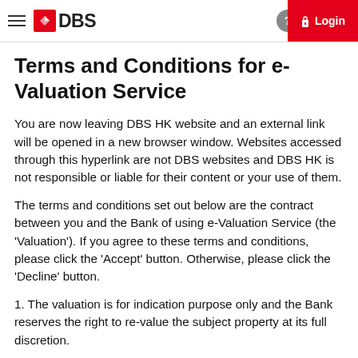DBS — Login
Terms and Conditions for e-Valuation Service
You are now leaving DBS HK website and an external link will be opened in a new browser window. Websites accessed through this hyperlink are not DBS websites and DBS HK is not responsible or liable for their content or your use of them.
The terms and conditions set out below are the contract between you and the Bank of using e-Valuation Service (the 'Valuation'). If you agree to these terms and conditions, please click the 'Accept' button. Otherwise, please click the 'Decline' button.
1. The valuation is for indication purpose only and the Bank reserves the right to re-value the subject property at its full discretion.